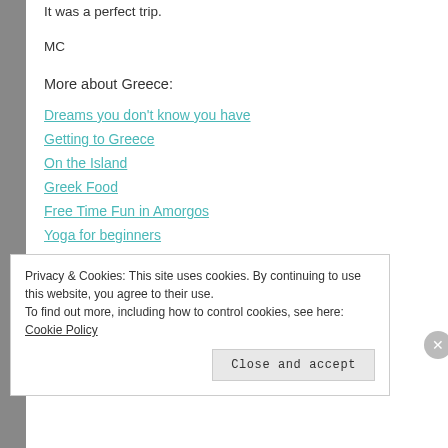It was a perfect trip.
MC
More about Greece:
Dreams you don't know you have
Getting to Greece
On the Island
Greek Food
Free Time Fun in Amorgos
Yoga for beginners
Privacy & Cookies: This site uses cookies. By continuing to use this website, you agree to their use. To find out more, including how to control cookies, see here: Cookie Policy